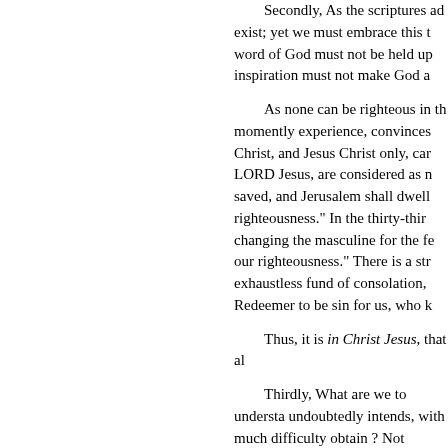Secondly, As the scriptures admit exist; yet we must embrace this word of God must not be held up inspiration must not make God a As none can be righteous in th momently experience, convinces Christ, and Jesus Christ only, car LORD Jesus, are considered as n saved, and Jerusalem shall dwell righteousness." In the thirty-thir changing the masculine for the fe our righteousness." There is a str exhaustless fund of consolation, Redeemer to be sin for us, who k Thus, it is in Christ Jesus, that al Thirdly, What are we to understa undoubtedly intends, with much difficulty obtain ? Not salvation from hell; these several salvation everlasting salvation, nor shall w is a salvation consequent upon b scarcely believers. It is in this vi longer can they derive peace fro